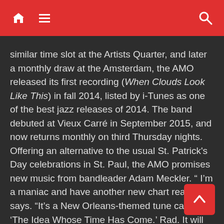similar time slot at the Artists Quarter, and later a monthly draw at the Amsterdam, the AMO released its first recording (When Clouds Look Like This) in fall 2014, listed by i-Tunes as one of the best jazz releases of 2014. The band debuted at Vieux Carré in September 2015, and now returns monthly on third Thursday nights. Offering an alternative to the usual St. Patrick's Day celebrations in St. Paul, the AMO promises new music from bandleader Adam Meckler. “ I’m a maniac and have another new chart ready,” he says. “It’s a New Orleans-themed tune called ‘The Idea Whose Time Has Come.’ Rad. It will be fun.” Mostly staffed with his usual suspects, Meckler also notes that drummer Reid Kennedy will join the cast, “and not only does he have impressive guns, he’s a hell of a drummer and is like a New Orleans expert or whatever.” (Among his other credentials, Kennedy plays snare with Jack Brass Band.)